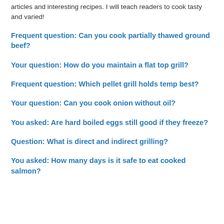articles and interesting recipes. I will teach readers to cook tasty and varied!
Frequent question: Can you cook partially thawed ground beef?
Your question: How do you maintain a flat top grill?
Frequent question: Which pellet grill holds temp best?
Your question: Can you cook onion without oil?
You asked: Are hard boiled eggs still good if they freeze?
Question: What is direct and indirect grilling?
You asked: How many days is it safe to eat cooked salmon?